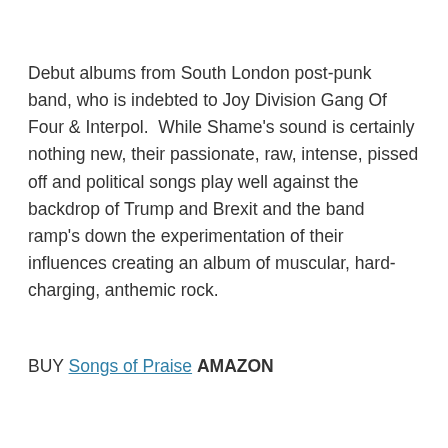Debut albums from South London post-punk band, who is indebted to Joy Division Gang Of Four & Interpol.  While Shame's sound is certainly nothing new, their passionate, raw, intense, pissed off and political songs play well against the backdrop of Trump and Brexit and the band ramp's down the experimentation of their influences creating an album of muscular, hard-charging, anthemic rock.
BUY Songs of Praise AMAZON